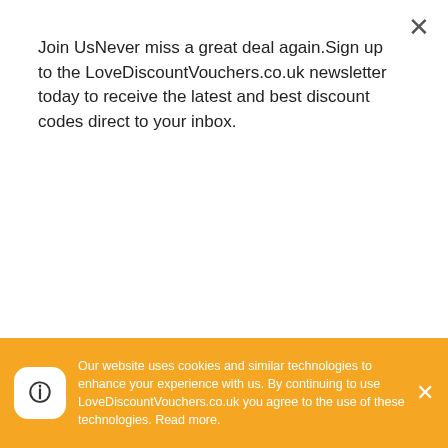Join UsNever miss a great deal again.Sign up to the LoveDiscountVouchers.co.uk newsletter today to receive the latest and best discount codes direct to your inbox.
Subscribe
checkout
Now that you have the code copied, simply paste it into the "Type In Your Code" label at the checkout. Check out the image provided below for an example in case you have any difficulty. If you're on a computer or laptop, then you will usually find the promo code box to the left of the checkout page.
Our website uses cookies and similar technologies to enhance your experience with us. By continuing to use LoveDiscountVouchers.co.uk you agree to the use of these technologies. Read more.